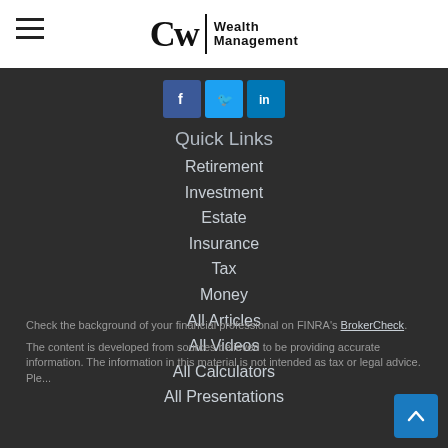[Figure (logo): CW Wealth Management logo with hamburger menu icon on the left]
[Figure (infographic): Social media icons: Facebook (blue), Twitter (light blue), LinkedIn (dark blue)]
Quick Links
Retirement
Investment
Estate
Insurance
Tax
Money
All Articles
All Videos
All Calculators
All Presentations
Check the background of your financial professional on FINRA's BrokerCheck.
The content is developed from sources believed to be providing accurate information. The information in this material is not intended as tax or legal advice. Please consult legal or tax professionals for specific information...